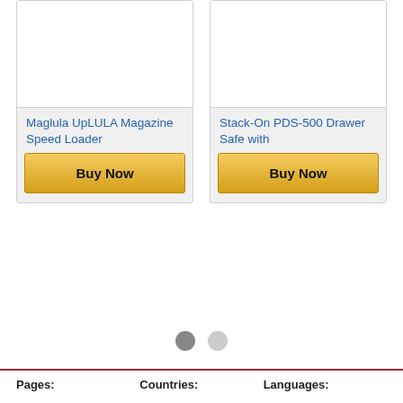[Figure (screenshot): Product card for Maglula UpLULA Magazine Speed Loader with Buy Now button]
[Figure (screenshot): Product card for Stack-On PDS-500 Drawer Safe with Buy Now button]
Pages:
Countries:
Languages: